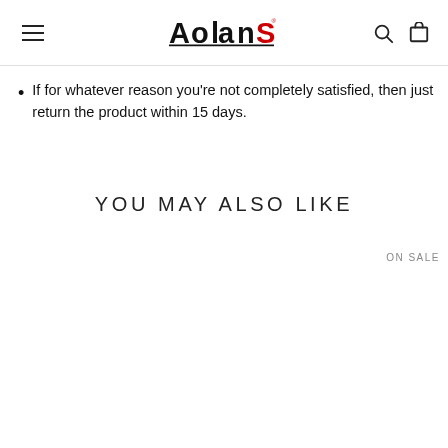AOLANS logo with hamburger menu, search icon, and cart icon
If for whatever reason you're not completely satisfied, then just return the product within 15 days.
YOU MAY ALSO LIKE
ON SALE